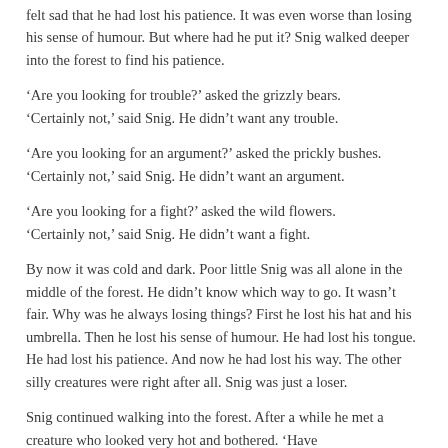felt sad that he had lost his patience. It was even worse than losing his sense of humour. But where had he put it? Snig walked deeper into the forest to find his patience.
'Are you looking for trouble?' asked the grizzly bears. 'Certainly not,' said Snig. He didn't want any trouble.
'Are you looking for an argument?' asked the prickly bushes.
'Certainly not,' said Snig. He didn't want an argument.
'Are you looking for a fight?' asked the wild flowers. 'Certainly not,' said Snig. He didn't want a fight.
By now it was cold and dark. Poor little Snig was all alone in the middle of the forest. He didn't know which way to go. It wasn't fair. Why was he always losing things? First he lost his hat and his umbrella. Then he lost his sense of humour. He had lost his tongue. He had lost his patience. And now he had lost his way. The other silly creatures were right after all. Snig was just a loser.
Snig continued walking into the forest. After a while he met a creature who looked very hot and bothered. 'Have